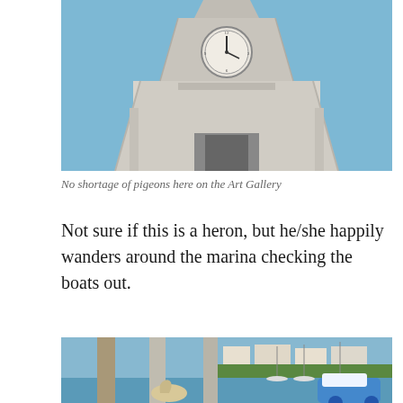[Figure (photo): Photo of an art gallery building with a clock tower, taken from below against a blue sky. The building has Art Deco architectural features with a large round clock face near the top.]
No shortage of pigeons here on the Art Gallery
Not sure if this is a heron, but he/she happily wanders around the marina checking the boats out.
[Figure (photo): Photo of a marina with a bird (possibly a heron) perched near metal poles at the dock, with sailboats and waterfront buildings visible in the background under a blue sky.]